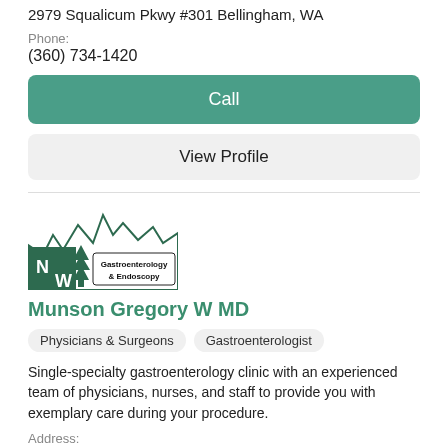2979 Squalicum Pkwy #301 Bellingham, WA
Phone:
(360) 734-1420
Call
View Profile
[Figure (logo): NW Gastroenterology & Endoscopy logo with mountain/tree silhouette]
Munson Gregory W MD
Physicians & Surgeons
Gastroenterologist
Single-specialty gastroenterology clinic with an experienced team of physicians, nurses, and staff to provide you with exemplary care during your procedure.
Address:
2979 Squalicum Pkwy #301 Bellingham, WA